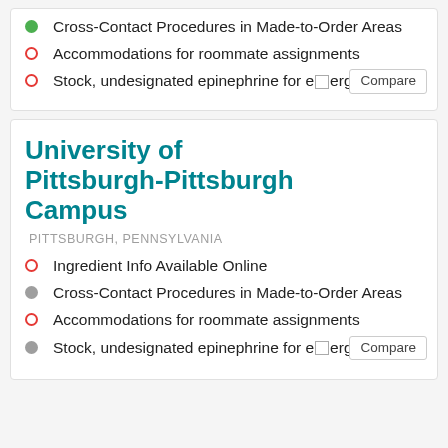Cross-Contact Procedures in Made-to-Order Areas
Accommodations for roommate assignments
Stock, undesignated epinephrine for emergencies
University of Pittsburgh-Pittsburgh Campus
PITTSBURGH, PENNSYLVANIA
Ingredient Info Available Online
Cross-Contact Procedures in Made-to-Order Areas
Accommodations for roommate assignments
Stock, undesignated epinephrine for emergencies